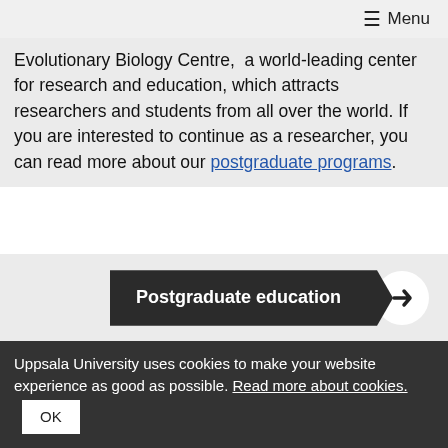≡ Menu
Evolutionary Biology Centre,  a world-leading center for research and education, which attracts researchers and students from all over the world. If you are interested to continue as a researcher, you can read more about our postgraduate programs.
[Figure (other): Dark banner button with text 'Postgraduate education' and a white arrow circle on the right]
COLLABORATION
Find out how our department collaborates
Uppsala University uses cookies to make your website experience as good as possible. Read more about cookies. OK